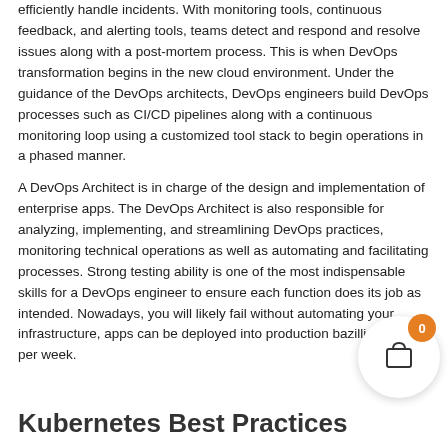efficiently handle incidents. With monitoring tools, continuous feedback, and alerting tools, teams detect and respond and resolve issues along with a post-mortem process. This is when DevOps transformation begins in the new cloud environment. Under the guidance of the DevOps architects, DevOps engineers build DevOps processes such as CI/CD pipelines along with a continuous monitoring loop using a customized tool stack to begin operations in a phased manner.
A DevOps Architect is in charge of the design and implementation of enterprise apps. The DevOps Architect is also responsible for analyzing, implementing, and streamlining DevOps practices, monitoring technical operations as well as automating and facilitating processes. Strong testing ability is one of the most indispensable skills for a DevOps engineer to ensure each function does its job as intended. Nowadays, you will likely fail without automating your infrastructure, apps can be deployed into production bazillion times per week.
Kubernetes Best Practices